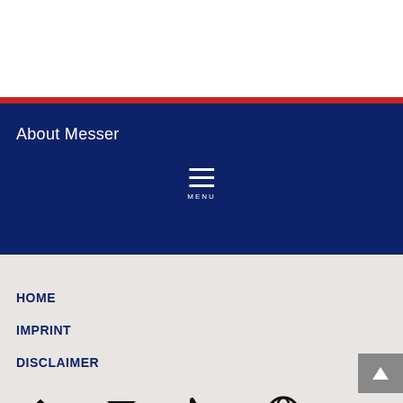About Messer
[Figure (other): Hamburger menu icon with three horizontal white lines and MENU label below]
HOME
IMPRINT
DISCLAIMER
DATA PROTECT...
PRIVACY NOTIC...
[Figure (other): Bottom navigation icons: home, mail/envelope, phone/handset, globe]